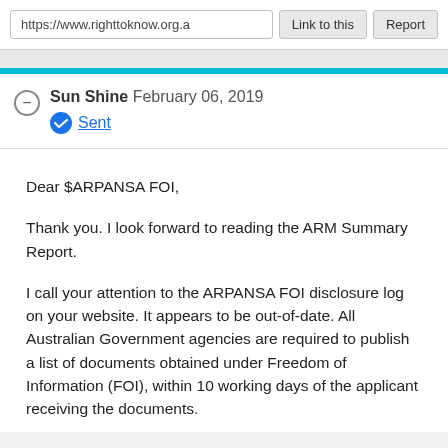https://www.righttoknow.org.a
Link to this
Report
Sun Shine  February 06, 2019
Sent
Dear $ARPANSA FOI,
Thank you. I look forward to reading the ARM Summary Report.
I call your attention to the ARPANSA FOI disclosure log on your website. It appears to be out-of-date. All Australian Government agencies are required to publish a list of documents obtained under Freedom of Information (FOI), within 10 working days of the applicant receiving the documents.